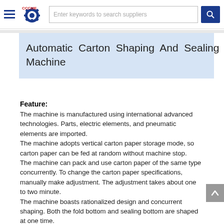CCCME — Enter keywords to search suppliers
Automatic Carton Shaping And Sealing Machine
Feature:
The machine is manufactured using international advanced technologies. Parts, electric elements, and pneumatic elements are imported.
The machine adopts vertical carton paper storage mode, so carton paper can be fed at random without machine stop.
The machine can pack and use carton paper of the same type concurrently. To change the carton paper specifications, manually make adjustment. The adjustment takes about one to two minute.
The machine boasts rationalized design and concurrent shaping. Both the fold bottom and sealing bottom are shaped at one time.